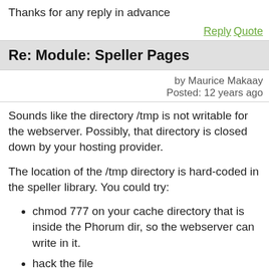Thanks for any reply in advance
Reply   Quote
Re: Module: Speller Pages
by Maurice Makaay
Posted: 12 years ago
Sounds like the directory /tmp is not writable for the webserver. Possibly, that directory is closed down by your hosting provider.
The location of the /tmp directory is hard-coded in the speller library. You could try:
chmod 777 on your cache directory that is inside the Phorum dir, so the webserver can write in it.
hack the file mods/spellerpages/spellerpages/speller/server